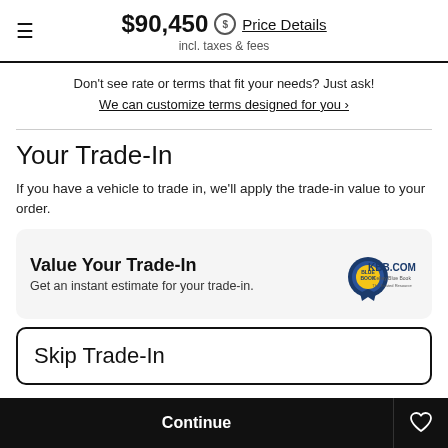$90,450 Price Details incl. taxes & fees
Don't see rate or terms that fit your needs? Just ask!
We can customize terms designed for you ›
Your Trade-In
If you have a vehicle to trade in, we'll apply the trade-in value to your order.
[Figure (other): KBB Value Your Trade-In card with Kelley Blue Book logo and text: Value Your Trade-In, Get an instant estimate for your trade-in.]
Skip Trade-In
Continue